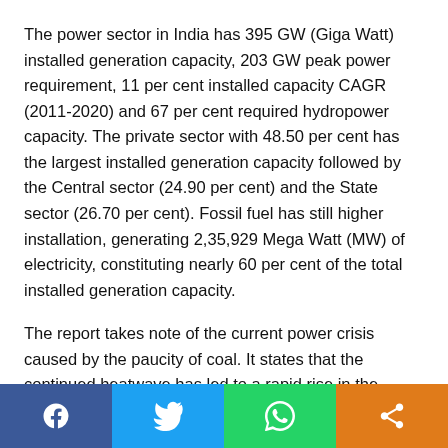The power sector in India has 395 GW (Giga Watt) installed generation capacity, 203 GW peak power requirement, 11 per cent installed capacity CAGR (2011-2020) and 67 per cent required hydropower capacity. The private sector with 48.50 per cent has the largest installed generation capacity followed by the Central sector (24.90 per cent) and the State sector (26.70 per cent). Fossil fuel has still higher installation, generating 2,35,929 Mega Watt (MW) of electricity, constituting nearly 60 per cent of the total installed generation capacity.
The report takes note of the current power crisis caused by the paucity of coal. It states that the continued heatwave has led to a rapid rise in the energy demand in states such as Punjab, Uttar Pradesh, Maharashtra, Haryana, and
[Figure (infographic): Social media share bar with four buttons: Facebook (dark blue), Twitter (light blue), WhatsApp (green), Share (orange)]